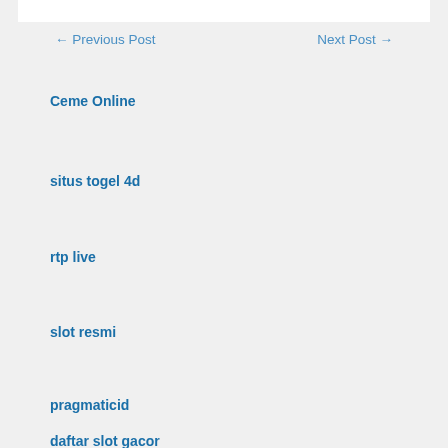← Previous Post    Next Post →
Ceme Online
situs togel 4d
rtp live
slot resmi
pragmaticid
daftar slot gacor